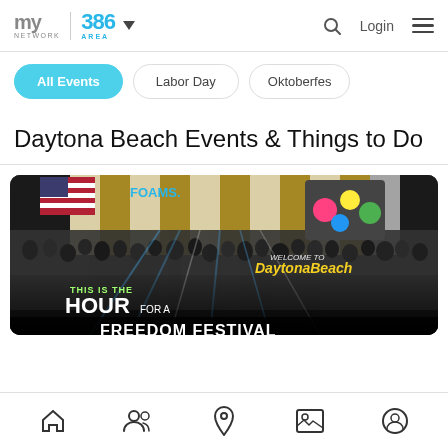my area network | 386 AREA | Login
All Events
Labor Day
Oktoberfes...
Daytona Beach Events & Things to Do
[Figure (photo): Banner image for Daytona Beach Freedom Festival showing a crowd at an outdoor festival with a large stage, striped tent, stage lighting, and text overlays reading: THIS IS THE HOUR FOR A... WELCOME TO DaytonaBeach FREEDOM FESTIVAL]
Bottom navigation bar with home, people, location, image, and profile icons